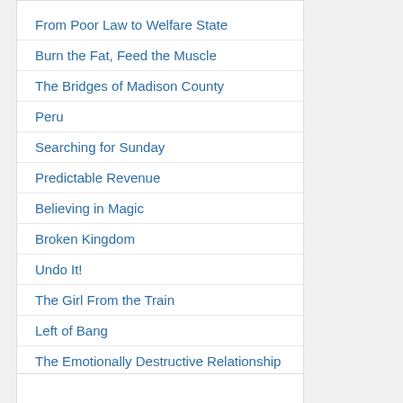From Poor Law to Welfare State
Burn the Fat, Feed the Muscle
The Bridges of Madison County
Peru
Searching for Sunday
Predictable Revenue
Believing in Magic
Broken Kingdom
Undo It!
The Girl From the Train
Left of Bang
The Emotionally Destructive Relationship